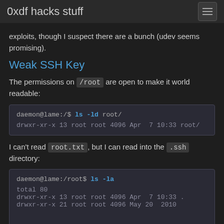0xdf hacks stuff
exploits, though I suspect there are a bunch (udev seems promising).
Weak SSH Key
The permissions on /root are open to make it world readable:
daemon@lame:/$ ls -ld root/
drwxr-xr-x 13 root root 4096 Apr  7 10:33 root/
I can't read root.txt, but I can read into the .ssh directory:
daemon@lame:/root$ ls -la
total 80
drwxr-xr-x 13 root root 4096 Apr  7 10:33 .
drwxr-xr-x 21 root root 4096 May 20 2010